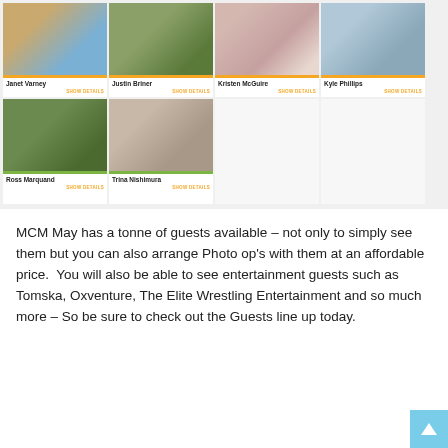[Figure (photo): Grid of six guest photos with names: Janet Varney, Justin Briner, Kristen McGuire, Kyle Phillips, Ross Marquand, Trina Nishimura — each with a SHOW DETAILS link]
MCM May has a tonne of guests available – not only to simply see them but you can also arrange Photo op's with them at an affordable price.  You will also be able to see entertainment guests such as Tomska, Oxventure, The Elite Wrestling Entertainment and so much more – So be sure to check out the Guests line up today.